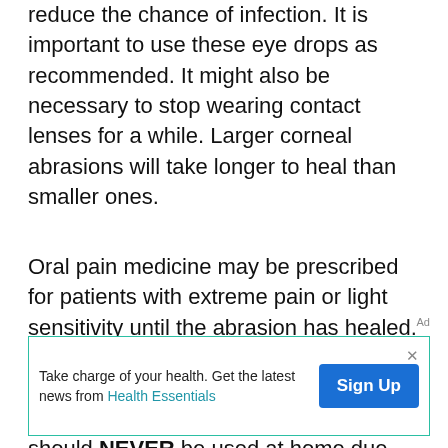reduce the chance of infection. It is important to use these eye drops as recommended. It might also be necessary to stop wearing contact lenses for a while. Larger corneal abrasions will take longer to heal than smaller ones.
Oral pain medicine may be prescribed for patients with extreme pain or light sensitivity until the abrasion has healed. Topical numbing medications (anesthetics) which may be given in the office to allow examination and treatment should NEVER be used at home due
Ad
[Figure (other): Advertisement banner with text 'Take charge of your health. Get the latest news from Health Essentials' and a blue 'Sign Up' button, bordered in teal.]